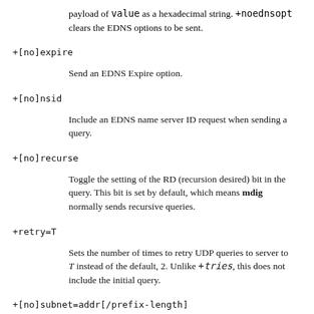payload of value as a hexadecimal string. +noednsopt clears the EDNS options to be sent.
+[no]expire
Send an EDNS Expire option.
+[no]nsid
Include an EDNS name server ID request when sending a query.
+[no]recurse
Toggle the setting of the RD (recursion desired) bit in the query. This bit is set by default, which means mdig normally sends recursive queries.
+retry=T
Sets the number of times to retry UDP queries to server to T instead of the default, 2. Unlike +tries, this does not include the initial query.
+[no]subnet=addr[/prefix-length]
Send (don't send) an EDNS Client Subnet option with the